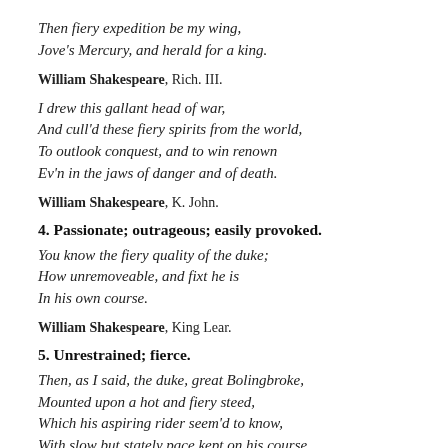Then fiery expedition be my wing,
Jove's Mercury, and herald for a king.
William Shakespeare, Rich. III.
I drew this gallant head of war,
And cull'd these fiery spirits from the world,
To outlook conquest, and to win renown
Ev'n in the jaws of danger and of death.
William Shakespeare, K. John.
4. Passionate; outrageous; easily provoked.
You know the fiery quality of the duke;
How unremoveable, and fixt he is
In his own course.
William Shakespeare, King Lear.
5. Unrestrained; fierce.
Then, as I said, the duke, great Bolingbroke,
Mounted upon a hot and fiery steed,
Which his aspiring rider seem'd to know,
With slow but stately pace kept on his course.
William Shakespeare, R. II.
Through Elis and the Grecian towns he flew;